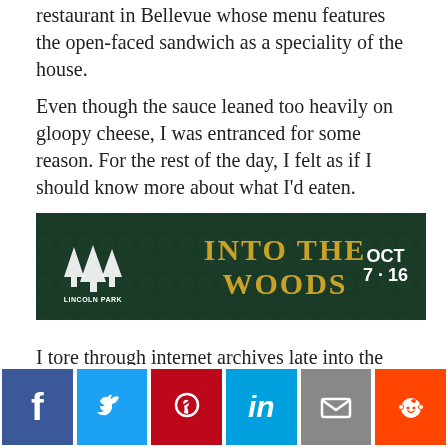restaurant in Bellevue whose menu features the open-faced sandwich as a speciality of the house.
Even though the sauce leaned too heavily on gloopy cheese, I was entranced for some reason. For the rest of the day, I felt as if I should know more about what I'd eaten.
[Figure (other): Advertisement banner for 'Into the Woods' at Lincoln Park Performing Arts Center, OCT 7-16, dark green background with golden title text]
I tore through internet archives late into the night, learning about the history of the tartine — invented right here in Pittsburgh by Frank Blandi, a pivotal figure in the city's dining history who opened the celebrated restaurants Pittsburgh Playhouse, Park
[Figure (other): Social media share buttons: Facebook, Twitter, Pinterest, LinkedIn, Email, Reddit]